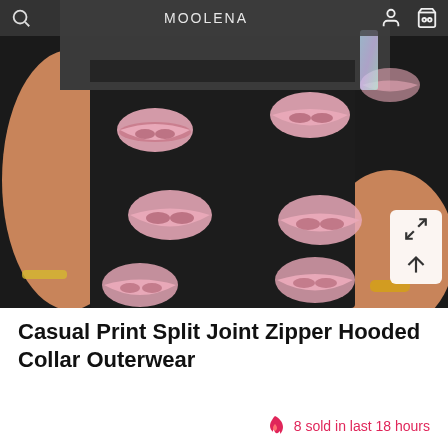[Figure (photo): A woman wearing black pants with pink lip print pattern, shown from waist down. She has a gold bracelet on her wrist and her hand is in her pocket. A navigation bar is visible at the top with a search icon, MOOLENA brand name, person icon, and cart icon.]
Casual Print Split Joint Zipper Hooded Collar Outerwear
8 sold in last 18 hours